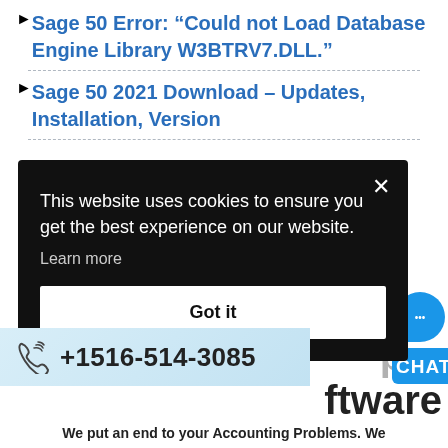Sage 50 Error: “Could not Load Database Engine Library W3BTRV7.DLL.”
Sage 50 2021 Download – Updates, Installation, Version
[Figure (screenshot): Cookie consent modal on dark background with 'Got it' button and close X]
[Figure (infographic): Phone bar with +1516-514-3085 and chat bubble icon on right]
ftware
We put an end to your Accounting Problems. We